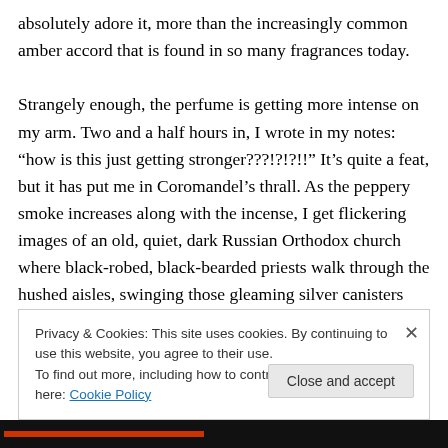absolutely adore it, more than the increasingly common amber accord that is found in so many fragrances today.

Strangely enough, the perfume is getting more intense on my arm. Two and a half hours in, I wrote in my notes: “how is this just getting stronger???!?!?!!” It’s quite a feat, but it has put me in Coromandel’s thrall. As the peppery smoke increases along with the incense, I get flickering images of an old, quiet, dark Russian Orthodox church where black-robed, black-bearded priests walk through the hushed aisles, swinging those gleaming silver canisters back and
Privacy & Cookies: This site uses cookies. By continuing to use this website, you agree to their use.
To find out more, including how to control cookies, see here: Cookie Policy
Close and accept